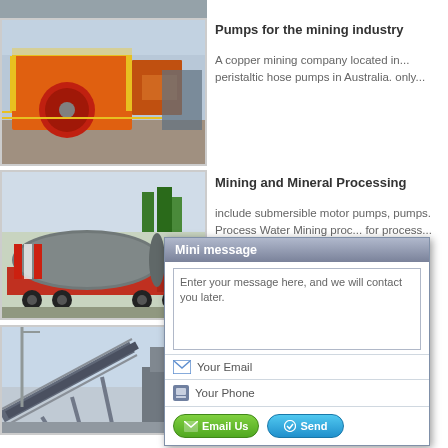[Figure (photo): Top partial image of industrial mining equipment, cut off at top of page]
[Figure (photo): Orange industrial crusher/screening plant machinery at a mining site]
Pumps for the mining industry
A copper mining company located in... peristaltic hose pumps in Australia. only...
[Figure (photo): Large industrial ball mill on a flatbed truck]
Mining and Mineral Processing
include submersible motor pumps, pumps. Process Water Mining proc... for process... ho... selection...
[Figure (photo): Conveyor belt system at a mining/quarry facility]
Pumps f... Gl...
From raw... the world... cu... Isa regio... A...
[Figure (screenshot): Mini message popup dialog with textarea, email field, phone field, Email Us and Send buttons]